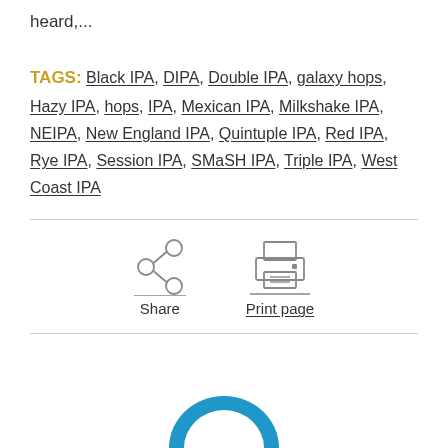heard,...
TAGS: Black IPA, DIPA, Double IPA, galaxy hops, Hazy IPA, hops, IPA, Mexican IPA, Milkshake IPA, NEIPA, New England IPA, Quintuple IPA, Red IPA, Rye IPA, Session IPA, SMaSH IPA, Triple IPA, West Coast IPA
[Figure (infographic): Share icon (circle nodes connected) and Print page icon (printer), with labels Share and Print page below each icon]
[Figure (logo): Partial circular logo in blue at the bottom of the page]